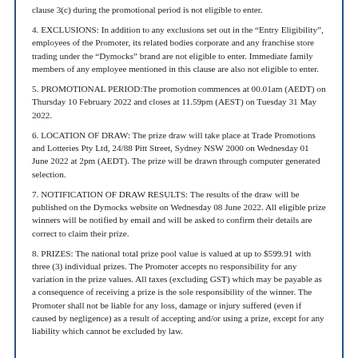clause 3(c) during the promotional period is not eligible to enter.
4. EXCLUSIONS: In addition to any exclusions set out in the “Entry Eligibility”, employees of the Promoter, its related bodies corporate and any franchise store trading under the “Dymocks” brand are not eligible to enter. Immediate family members of any employee mentioned in this clause are also not eligible to enter.
5. PROMOTIONAL PERIOD:The promotion commences at 00.01am (AEDT) on Thursday 10 February 2022 and closes at 11.59pm (AEST) on Tuesday 31 May 2022.
6. LOCATION OF DRAW: The prize draw will take place at Trade Promotions and Lotteries Pty Ltd, 24/88 Pitt Street, Sydney NSW 2000 on Wednesday 01 June 2022 at 2pm (AEDT). The prize will be drawn through computer generated selection.
7. NOTIFICATION OF DRAW RESULTS: The results of the draw will be published on the Dymocks website on Wednesday 08 June 2022. All eligible prize winners will be notified by email and will be asked to confirm their details are correct to claim their prize.
8. PRIZES: The national total prize pool value is valued at up to $599.91 with three (3) individual prizes. The Promoter accepts no responsibility for any variation in the prize values. All taxes (excluding GST) which may be payable as a consequence of receiving a prize is the sole responsibility of the winner. The Promoter shall not be liable for any loss, damage or injury suffered (even if caused by negligence) as a result of accepting and/or using a prize, except for any liability which cannot be excluded by law.